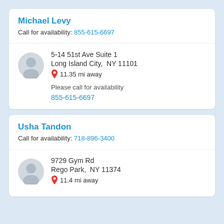Michael Levy
Call for availability: 855-615-6697
5-14 51st Ave Suite 1
Long Island City, NY 11101
11.35 mi away
Please call for availability
855-615-6697
Usha Tandon
Call for availability: 718-896-3400
9729 Gym Rd
Rego Park, NY 11374
11.4 mi away